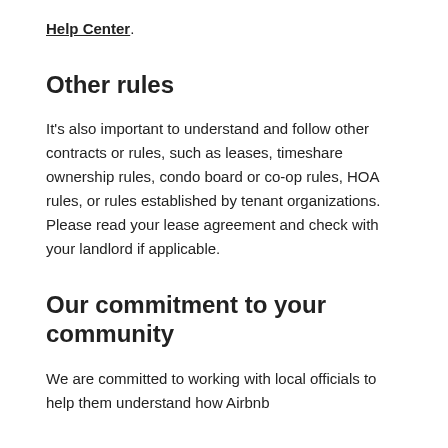Help Center.
Other rules
It's also important to understand and follow other contracts or rules, such as leases, timeshare ownership rules, condo board or co-op rules, HOA rules, or rules established by tenant organizations. Please read your lease agreement and check with your landlord if applicable.
Our commitment to your community
We are committed to working with local officials to help them understand how Airbnb